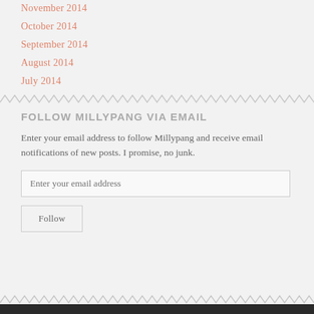November 2014
October 2014
September 2014
August 2014
July 2014
FOLLOW MILLYPANG VIA EMAIL
Enter your email address to follow Millypang and receive email notifications of new posts. I promise, no junk.
Enter your email address
Follow